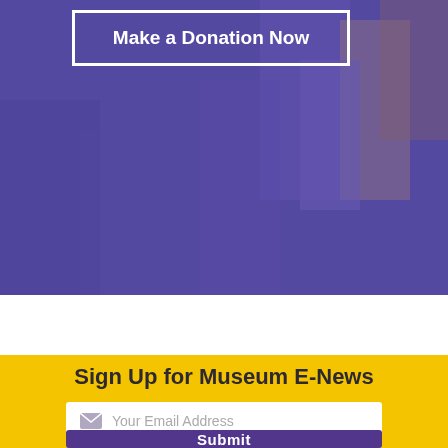[Figure (photo): Purple/violet toned background with abstract building shapes visible behind a semi-transparent overlay]
Make a Donation Now
Sign Up for Museum E-News
Your Email Address
Submit